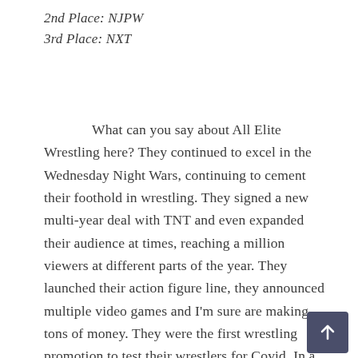2nd Place: NJPW
3rd Place: NXT
What can you say about All Elite Wrestling here? They continued to excel in the Wednesday Night Wars, continuing to cement their foothold in wrestling. They signed a new multi-year deal with TNT and even expanded their audience at times, reaching a million viewers at different parts of the year. They launched their action figure line, they announced multiple video games and I'm sure are making tons of money. They were the first wrestling promotion to test their wrestlers for Covid. In a year that turned the whole wrestling world on its head, AEW was able to stay the